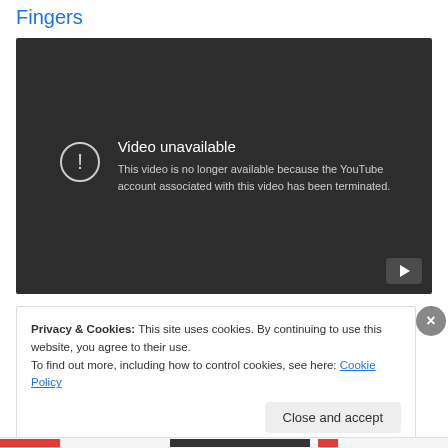Fingers
[Figure (screenshot): Video unavailable screenshot showing a dark YouTube embed with error message: 'Video unavailable. This video is no longer available because the YouTube account associated with this video has been terminated.' A play button icon appears in the bottom right corner.]
Privacy & Cookies: This site uses cookies. By continuing to use this website, you agree to their use.
To find out more, including how to control cookies, see here: Cookie Policy
Close and accept